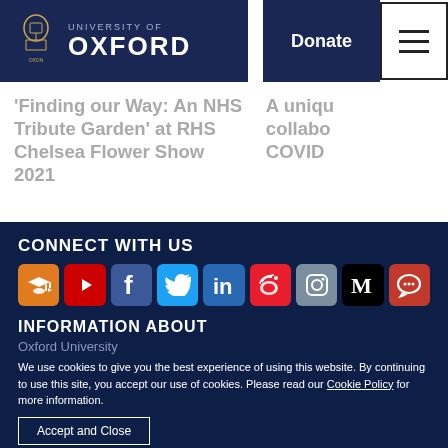[Figure (logo): University of Oxford logo — dark navy background with crest and OXFORD text in white]
Donate
[Figure (other): Hamburger menu icon (three horizontal lines)]
'Finding our Way: An NHS Tribute Garden' at RHS Chelsea Flower Show 2021
A unique collaboration... COVID
CONNECT WITH US
[Figure (infographic): Row of 9 social media icons: Oxford (graduation cap, orange), YouTube (red), Facebook (dark blue), Twitter (light blue), LinkedIn (blue), Weibo (red), Instagram (grey-blue), Medium (black), chat/podcast (red)]
INFORMATION ABOUT
Oxford University
We use cookies to give you the best experience of using this website. By continuing to use this site, you accept our use of cookies. Please read our Cookie Policy for more information.
Accept and Close